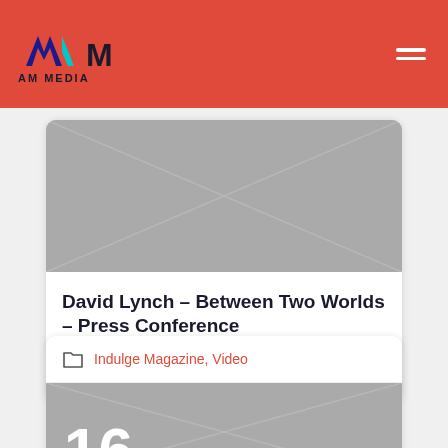AM MEDIA
[Figure (photo): Gray placeholder image with X lines for article thumbnail]
David Lynch – Between Two Worlds – Press Conference
Megalla
Indulge Magazine, Video
[Figure (photo): Gray placeholder image with X lines and number 16]